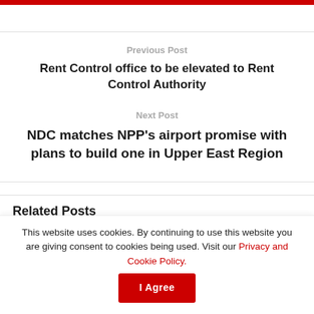Previous Post
Rent Control office to be elevated to Rent Control Authority
Next Post
NDC matches NPP's airport promise with plans to build one in Upper East Region
Related Posts
This website uses cookies. By continuing to use this website you are giving consent to cookies being used. Visit our Privacy and Cookie Policy.